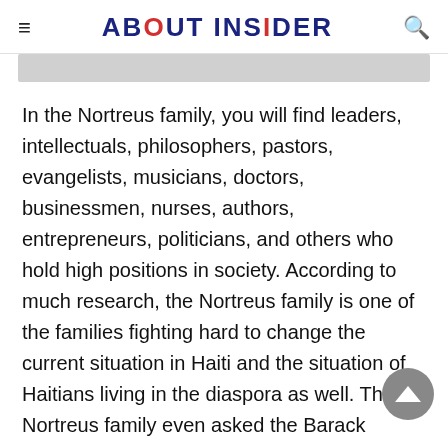ABOUT INSIDER
In the Nortreus family, you will find leaders, intellectuals, philosophers, pastors, evangelists, musicians, doctors, businessmen, nurses, authors, entrepreneurs, politicians, and others who hold high positions in society. According to much research, the Nortreus family is one of the families fighting hard to change the current situation in Haiti and the situation of Haitians living in the diaspora as well. The Nortreus family even asked the Barack Obama administration to give immigrants living in the United States green cards because immigrants work hard to improve the U.S.